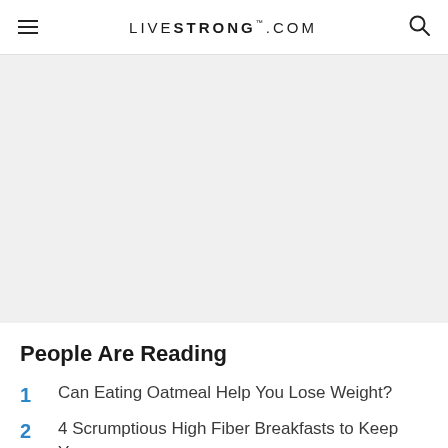LIVESTRONG.COM
[Figure (other): Gray placeholder advertisement or image area]
People Are Reading
1  Can Eating Oatmeal Help You Lose Weight?
2  4 Scrumptious High Fiber Breakfasts to Keep You...